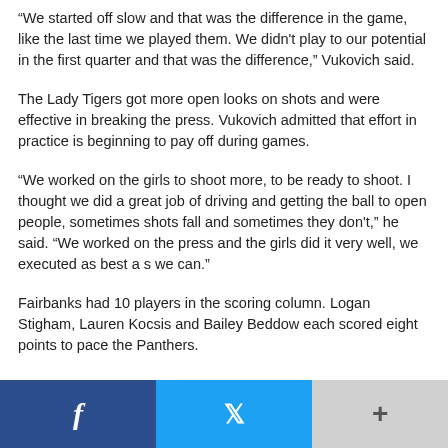“We started off slow and that was the difference in the game, like the last time we played them. We didn’t play to our potential in the first quarter and that was the difference,” Vukovich said.
The Lady Tigers got more open looks on shots and were effective in breaking the press. Vukovich admitted that effort in practice is beginning to pay off during games.
“We worked on the girls to shoot more, to be ready to shoot. I thought we did a great job of driving and getting the ball to open people, sometimes shots fall and sometimes they don’t,” he said. “We worked on the press and the girls did it very well, we executed as best a s we can.”
Fairbanks had 10 players in the scoring column. Logan Stigham, Lauren Kocsis and Bailey Beddow each scored eight points to pace the Panthers.
[Figure (other): Social sharing bar with Facebook, Twitter, and more (+) buttons]